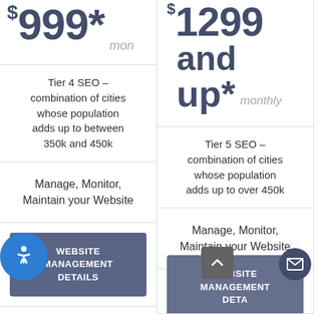$999* monthly
Tier 4 SEO – combination of cities whose population adds up to between 350k and 450k
Manage, Monitor, Maintain your Website
WEBSITE MANAGEMENT DETAILS
Search Engine Optimization – SEO
$1299 and up* monthly
Tier 5 SEO – combination of cities whose population adds up to over 450k
Manage, Monitor, Maintain your Website
WEBSITE MANAGEMENT DETAILS